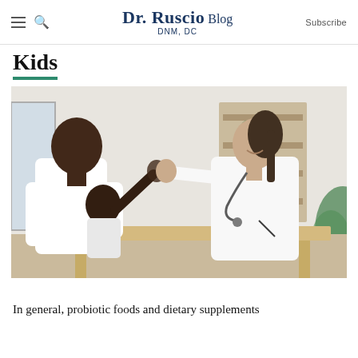Dr. Ruscio Blog DNM, DC  Subscribe
Kids
[Figure (photo): A father holding a young child on his lap, both facing a female doctor in a white coat with a stethoscope. The child is giving the doctor a high five. They are seated at a wooden table in a bright clinical room with shelves in the background.]
In general, probiotic foods and dietary supplements